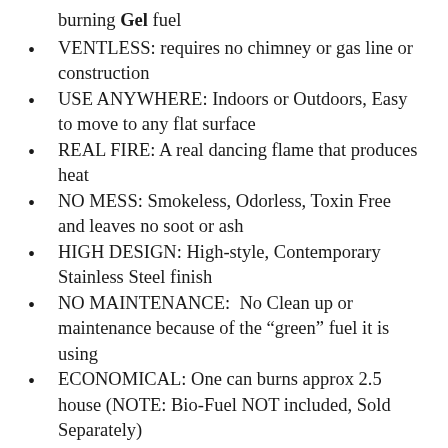burning Gel fuel
VENTLESS: requires no chimney or gas line or construction
USE ANYWHERE: Indoors or Outdoors, Easy to move to any flat surface
REAL FIRE: A real dancing flame that produces heat
NO MESS: Smokeless, Odorless, Toxin Free and leaves no soot or ash
HIGH DESIGN: High-style, Contemporary Stainless Steel finish
NO MAINTENANCE:  No Clean up or maintenance because of the “green” fuel it is using
ECONOMICAL: One can burns approx 2.5 house (NOTE: Bio-Fuel NOT included, Sold Separately)